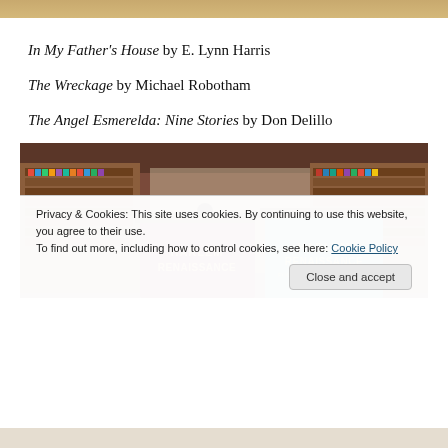In My Father's House by E. Lynn Harris
The Wreckage by Michael Robotham
The Angel Esmerelda: Nine Stories by Don Delillo
[Figure (photo): Interior of a library with bookshelves, computers, and two 'Harlem Renaissance' book display banners — one maroon and one teal — prominently in the foreground.]
Privacy & Cookies: This site uses cookies. By continuing to use this website, you agree to their use.
To find out more, including how to control cookies, see here: Cookie Policy